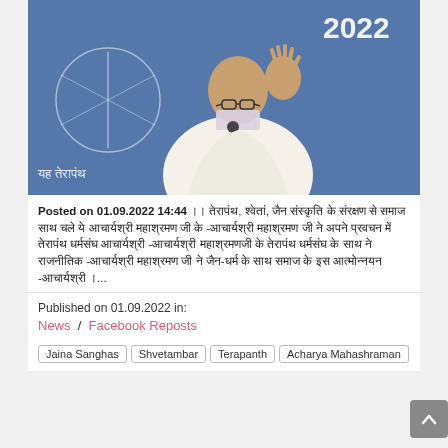[Figure (photo): A bald monk wearing white robes and glasses, with a white cloth covering his mouth, raising his right hand. He stands at a microphone in front of a blue backdrop with text in Hindi reading 'यह तेरापंथ' and '2022', along with a Jain emblem.]
Posted on 01.09.2022 14:44 ।। तेरापंथ, श्वेतां, जैन संस्कृति के संरक्षण से समाज साथ चले ये आचार्यश्री महाश्रमण जी के -आचार्यश्री महाश्रमण जी ने अपने प्रवचन में तेरापंथ धर्मसंघ आचार्यश्री -आचार्यश्री महाश्रमणजी के तेरापंथ धर्मसंघ के साथ ने राजनीतिक -आचार्यश्री महाश्रमण जी ने जैन-धर्म के साथ समाज के इस आत्मोन्नयन -आचार्यश्री ।...
Published on 01.09.2022 in:
News  /  Facebook Reposts
Jaina Sanghas
Shvetambar
Terapanth
Acharya Mahashraman